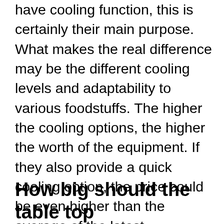have cooling function, this is certainly their main purpose. What makes the real difference may be the different cooling levels and adaptability to various foodstuffs. The higher the cooling options, the higher the worth of the equipment. If they also provide a quick cooling option, the price could be even higher than the average of the latest generation of refrigerators. Therefore, the difference between model variations is based on the cooling specifications they have, on the basis of the shape and composition for the food.
How big should the table top